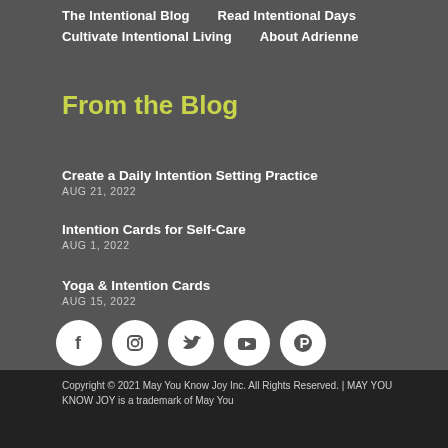The Intentional Blog | Read Intentional Days | Cultivate Intentional Living | About Adrienne
From the Blog
Create a Daily Intention Setting Practice
AUG 21, 2022
Intention Cards for Self-Care
AUG 1, 2022
Yoga & Intention Cards
AUG 15, 2022
[Figure (infographic): Social media icons: Facebook, Instagram, Twitter, YouTube, Pinterest — white circles on dark background]
Copyright © 2021 May You Know Joy Inc. All Rights Reserved. | MAY YOU KNOW JOY is a trademark of May You